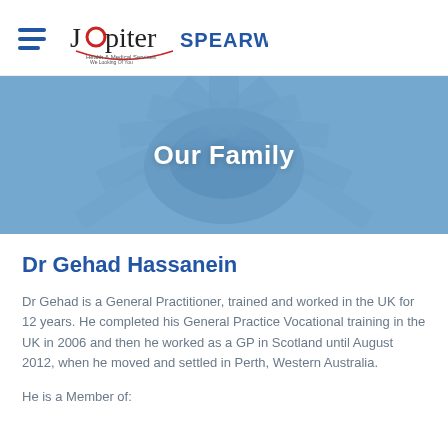[Figure (logo): Jupiter Health & Medical Services logo with Spearwood text]
[Figure (photo): Blue-tinted photo of medical team hands stacked together in a circle, with 'Our Family' text overlay]
Dr Gehad Hassanein
Dr Gehad is a General Practitioner, trained and worked in the UK for 12 years. He completed his General Practice Vocational training in the UK in 2006 and then he worked as a GP in Scotland until August 2012, when he moved and settled in Perth, Western Australia.
He is a Member of: